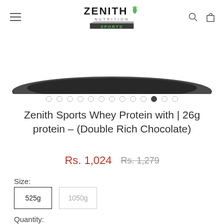Zenith Nutrition Sports
[Figure (photo): Partial product image with curved black shape at bottom, product container barely visible]
[Figure (other): Carousel pagination dots, 13 dots total with 11th dot filled/active]
Zenith Sports Whey Protein with | 26g protein – (Double Rich Chocolate)
Rs. 1,024  Rs. 1,279
Size:
525g
1050g
Quantity: